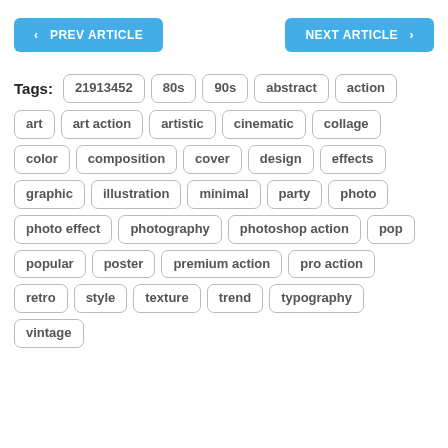< PREV ARTICLE
NEXT ARTICLE >
Tags: 21913452 80s 90s abstract action art art action artistic cinematic collage color composition cover design effects graphic illustration minimal party photo photo effect photography photoshop action pop popular poster premium action pro action retro style texture trend typography vintage